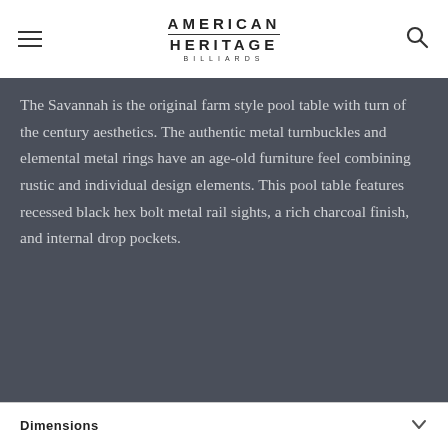AMERICAN HERITAGE BILLIARDS
The Savannah is the original farm style pool table with turn of the century aesthetics. The authentic metal turnbuckles and elemental metal rings have an age-old furniture feel combining rustic and individual design elements. This pool table features recessed black hex bolt metal rail sights, a rich charcoal finish, and internal drop pockets.
Dimensions